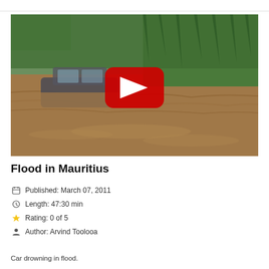[Figure (screenshot): Video thumbnail showing a car submerged/drowning in a muddy flood with green vegetation in background, with a red YouTube play button overlay in the center.]
Flood in Mauritius
Published: March 07, 2011
Length: 47:30 min
Rating: 0 of 5
Author: Arvind Toolooa
Car drowning in flood.